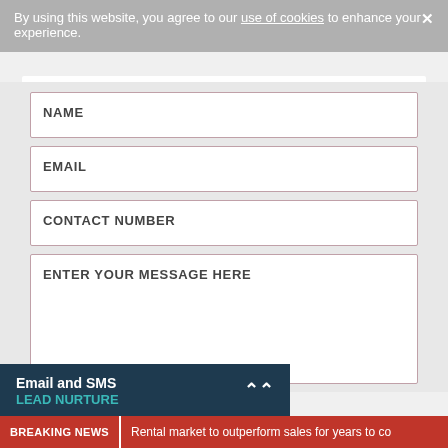By using this website, you agree to our use of cookies to enhance your experience.
NAME
EMAIL
CONTACT NUMBER
ENTER YOUR MESSAGE HERE
Email and SMS LEAD NURTURE
BREAKING NEWS   Rental market to outperform sales for years to co